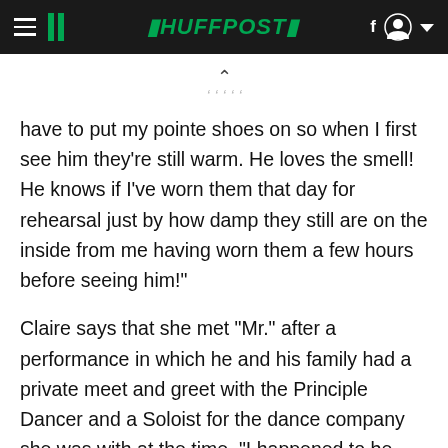HUFFPOST
have to put my pointe shoes on so when I first see him they're still warm. He loves the smell! He knows if I've worn them that day for rehearsal just by how damp they still are on the inside from me having worn them a few hours before seeing him!"
Claire says that she met "Mr." after a performance in which he and his family had a private meet and greet with the Principle Dancer and a Soloist for the dance company she was with at the time. "I happened to be passing by